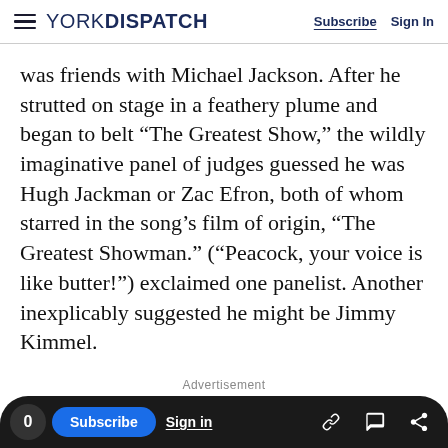YORK DISPATCH — Subscribe | Sign In
was friends with Michael Jackson. After he strutted on stage in a feathery plume and began to belt “The Greatest Show,” the wildly imaginative panel of judges guessed he was Hugh Jackman or Zac Efron, both of whom starred in the song’s film of origin, “The Greatest Showman.” (“Peacock, your voice is like butter!”) exclaimed one panelist. Another inexplicably suggested he might be Jimmy Kimmel.
Advertisement
[Figure (other): Advertisement placeholder box]
0 | Subscribe | Sign in